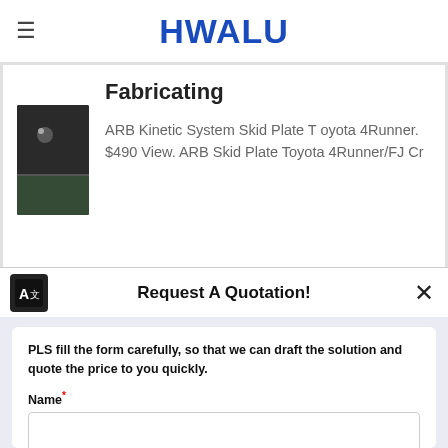HWALU
Fabricating
ARB Kinetic System Skid Plate Toyota 4Runner. $490 View. ARB Skid Plate Toyota 4Runner/FJ Cr
Request A Quotation!
PLS fill the form carefully, so that we can draft the solution and quote the price to you quickly.
Name*
E-mail*